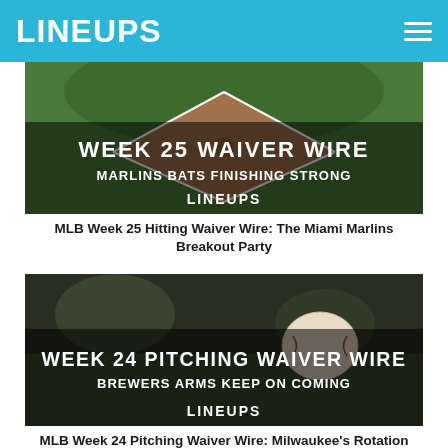LINEUPS
[Figure (photo): Aerial view of a baseball diamond with green outfield grass and brown infield dirt, overlaid with white bold text: WEEK 25 WAIVER WIRE / MARLINS BATS FINISHING STRONG / LINEUPS]
MLB Week 25 Hitting Waiver Wire: The Miami Marlins Breakout Party
[Figure (photo): Close-up of a baseball on a blurred stadium background with dark overlay, overlaid with white bold text: WEEK 24 PITCHING WAIVER WIRE / BREWERS ARMS KEEP ON COMING / LINEUPS]
MLB Week 24 Pitching Waiver Wire: Milwaukee's Rotation Just Keeps Getting Better